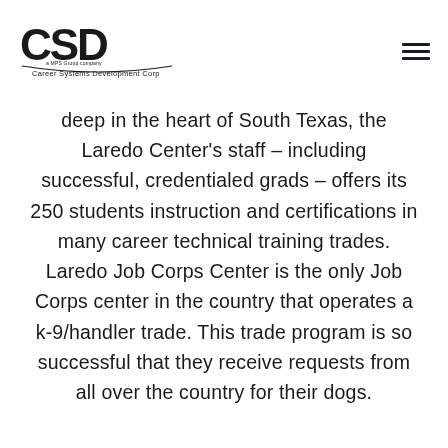[Figure (logo): Career Systems Development Corp (CSD) logo with stylized CSD lettering and company name below]
deep in the heart of South Texas, the Laredo Center's staff – including successful, credentialed grads – offers its 250 students instruction and certifications in many career technical training trades. Laredo Job Corps Center is the only Job Corps center in the country that operates a k-9/handler trade. This trade program is so successful that they receive requests from all over the country for their dogs.